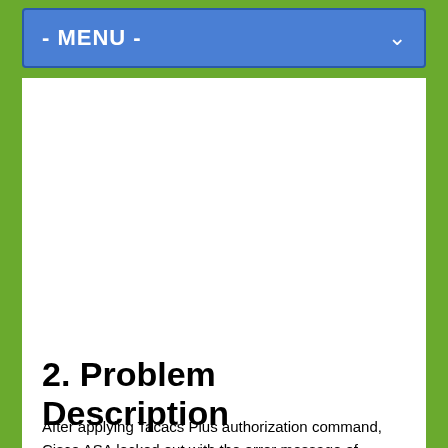- MENU -
2. Problem Description
After applying Tacacs Plus authorization command, Cisco ASA locked out with the error message of “Command authorization failed” and it is not able to execute any command any more.